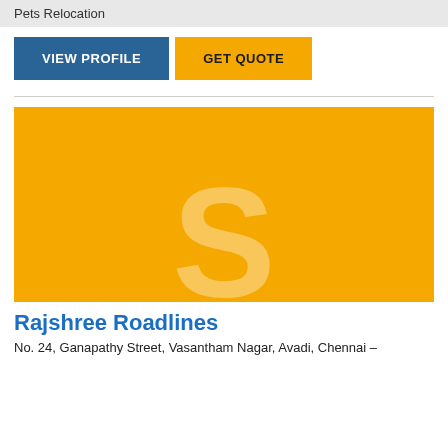Pets Relocation
VIEW PROFILE
GET QUOTE
[Figure (logo): Yellow/gold square logo with large semi-transparent S letter for Rajshree Roadlines]
Rajshree Roadlines
No. 24, Ganapathy Street, Vasantham Nagar, Avadi, Chennai –